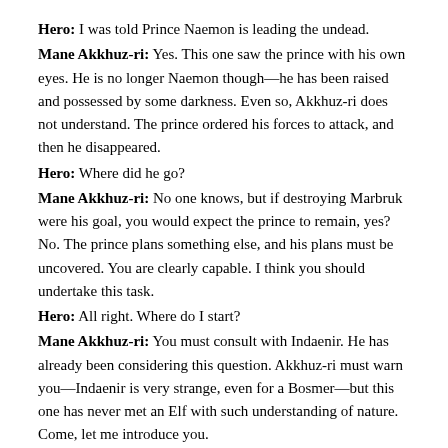Hero: I was told Prince Naemon is leading the undead.
Mane Akkhuz-ri: Yes. This one saw the prince with his own eyes. He is no longer Naemon though—he has been raised and possessed by some darkness. Even so, Akkhuz-ri does not understand. The prince ordered his forces to attack, and then he disappeared.
Hero: Where did he go?
Mane Akkhuz-ri: No one knows, but if destroying Marbruk were his goal, you would expect the prince to remain, yes? No. The prince plans something else, and his plans must be uncovered. You are clearly capable. I think you should undertake this task.
Hero: All right. Where do I start?
Mane Akkhuz-ri: You must consult with Indaenir. He has already been considering this question. Akkhuz-ri must warn you—Indaenir is very strange, even for a Bosmer—but this one has never met an Elf with such understanding of nature. Come, let me introduce you.
Hero: All right. That makes sense.
Indaenir: I appreciate the Mane's sentiment... and the support of the Dominion, but ultimately, it falls on us to protect Valenwood. Since the Silvenar is in the front, on the front, we are far from home...